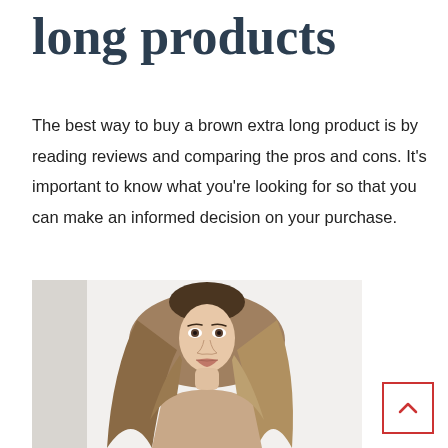long products
The best way to buy a brown extra long product is by reading reviews and comparing the pros and cons. It's important to know what you're looking for so that you can make an informed decision on your purchase.
[Figure (photo): A woman with long wavy brown/blonde ombre hair, facing the camera, head and upper torso visible, against a light background.]